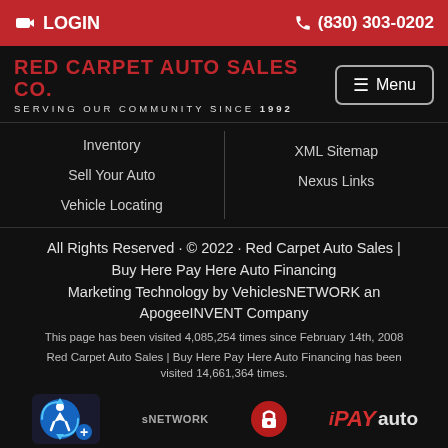LOGIN | (830) 303-0202
RED CARPET AUTO SALES CO. | SERVING OUR COMMUNITY SINCE 1992
Inventory
Sell Your Auto
Vehicle Locating
XML Sitemap
Nexus Links
All Rights Reserved · © 2022 · Red Carpet Auto Sales | Buy Here Pay Here Auto Financing
Marketing Technology by VehiclesNETWORK an ApogeeINVENT Company
This page has been visited 4,085,254 times since February 14th, 2008
Red Carpet Auto Sales | Buy Here Pay Here Auto Financing has been visited 14,661,364 times.
[Figure (logo): Accessibility icon widget]
[Figure (logo): VehiclesNETWORK logo text]
[Figure (logo): Red lock/home icon bubble]
[Figure (logo): iPAY auto logo]